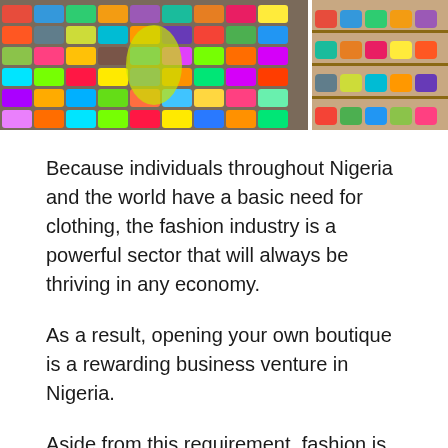[Figure (photo): Two photos side by side: left shows a colorful display of shoes and footwear in a market stall, right shows handbags and accessories on shelves.]
Because individuals throughout Nigeria and the world have a basic need for clothing, the fashion industry is a powerful sector that will always be thriving in any economy.
As a result, opening your own boutique is a rewarding business venture in Nigeria.
Aside from this requirement, fashion is constantly changing due to the vast and varied interest in styles and desires. Starting a clothing boutique business in Nigeria can be